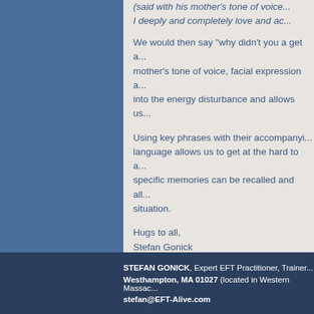(said with his mother's tone of voice... I deeply and completely love and ac...
We would then say "why didn't you a get a... mother's tone of voice, facial expression a... into the energy disturbance and allows us...
Using key phrases with their accompanyi... language allows us to get at the hard to a... specific memories can be recalled and all... situation.
Hugs to all,
Stefan Gonick
Expert EFT Practitioner, Trainer, and Love...
STEFAN GONICK, Expert EFT Practitioner, Trainer...
Westhampton, MA 01027 (located in Western Massac...
stefan@EFT-Alive.com